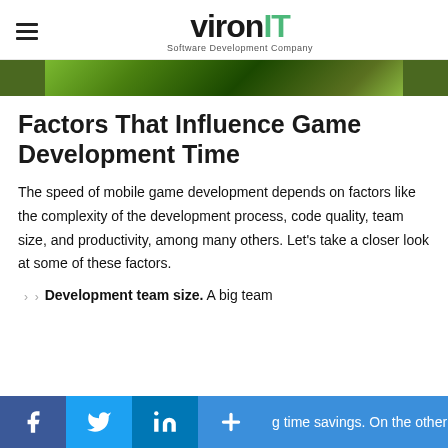vironIT Software Development Company
[Figure (photo): Partial photo strip showing green foliage/nature scene, cropped at top]
Factors That Influence Game Development Time
The speed of mobile game development depends on factors like the complexity of the development process, code quality, team size, and productivity, among many others. Let’s take a closer look at some of these factors.
Development team size. A big team [a]g time savings. On the other